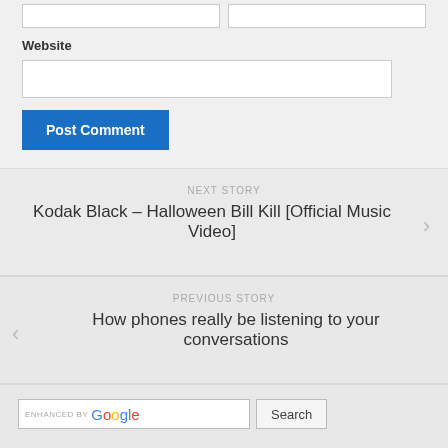Website
Post Comment
NEXT STORY
Kodak Black – Halloween Bill Kill [Official Music Video]
PREVIOUS STORY
How phones really be listening to your conversations
[Figure (screenshot): Search bar with 'enhanced by Google' text and a Search button]